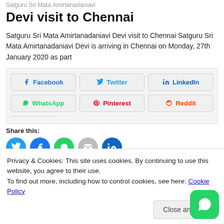Satguru Sri Mata Amirtanadaniavi Devi visit to Chennai
Satguru Sri Mata Amirtanadaniavi Devi visit to Chennai Satguru Sri Mata Amirtanadaniavi Devi is arriving in Chennai on Monday, 27th January 2020 as part
[Figure (screenshot): Social share buttons: Facebook, Twitter, LinkedIn, WhatsApp, Pinterest, Reddit]
Share this:
[Figure (screenshot): Round social share icons: Twitter, Facebook, WhatsApp, Email, LinkedIn]
Privacy & Cookies: This site uses cookies. By continuing to use this website, you agree to their use.
To find out more, including how to control cookies, see here: Cookie Policy
Close and accept